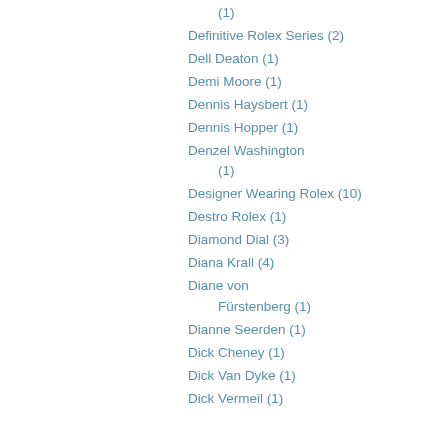(1)
Definitive Rolex Series (2)
Dell Deaton (1)
Demi Moore (1)
Dennis Haysbert (1)
Dennis Hopper (1)
Denzel Washington (1)
Designer Wearing Rolex (10)
Destro Rolex (1)
Diamond Dial (3)
Diana Krall (4)
Diane von Fürstenberg (1)
Dianne Seerden (1)
Dick Cheney (1)
Dick Van Dyke (1)
Dick Vermeil (1)